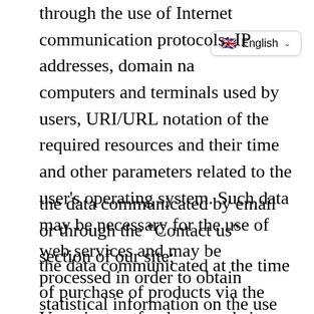through the use of Internet communication protocols: IP addresses, domain names of computers and terminals used by users, URI/URL notation of the required resources and their time and other parameters related to the user's operating system. Such data may be necessary for the use of web services and may be processed in order to obtain statistical information on the use of the services, as well as to check the proper functioning of the services offered;
the data communicated by email or through the "Contact us" section of our site;
the data communicated at the time of purchase of products via the Vesuviostreetfood.com website (personal data, email address, shipping address,